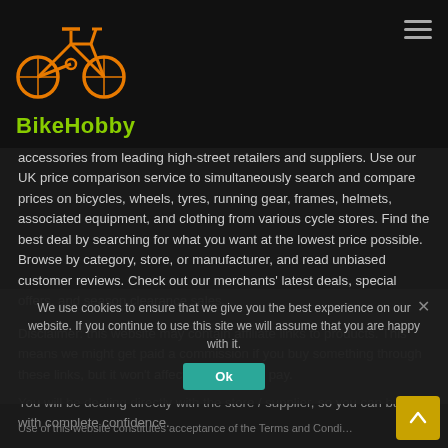BikeHobby
accessories from leading high-street retailers and suppliers. Use our UK price comparison service to simultaneously search and compare prices on bicycles, wheels, tyres, running gear, frames, helmets, associated equipment, and clothing from various cycle stores. Find the best deal by searching for what you want at the lowest price possible. Browse by category, store, or manufacturer, and read unbiased customer reviews. Check out our merchants' latest deals, special offers, and season clearance sales.
Disclaimer: this website may contain affiliate links to products. This means we might get paid a commission if you buy something through these links, but it won't affect the price you pay.
You will be dealing directly with the store / supplier, so you can buy with complete confidence.
We use cookies to ensure that we give you the best experience on our website. If you continue to use this site we will assume that you are happy with it.
Ok
Use of this website constitutes acceptance of the Terms and Condi...